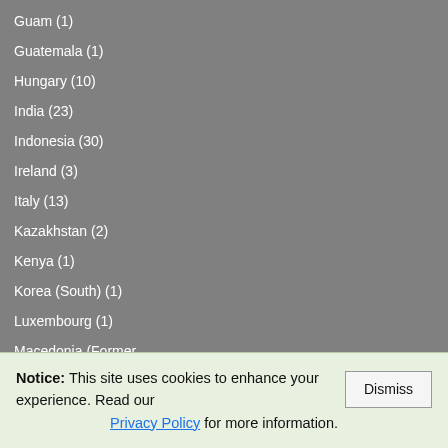Guam (1)
Guatemala (1)
Hungary (10)
India (23)
Indonesia (30)
Ireland (3)
Italy (13)
Kazakhstan (2)
Kenya (1)
Korea (South) (1)
Luxembourg (1)
Macedonia (Former Yugoslav) (1)
Earn... How...
[Figure (photo): A family photo with a Woody (Toy Story) character costume at what appears to be a theme park, dated 05/27/2006. A money bag emoji is shown below with 'Bonus Pool Winner' in red bold text.]
💰 Bonus Pool Winner
T Y Briefly... for more information. C... D... c s c A s .
Notice: This site uses cookies to enhance your experience. Read our Privacy Policy for more information.